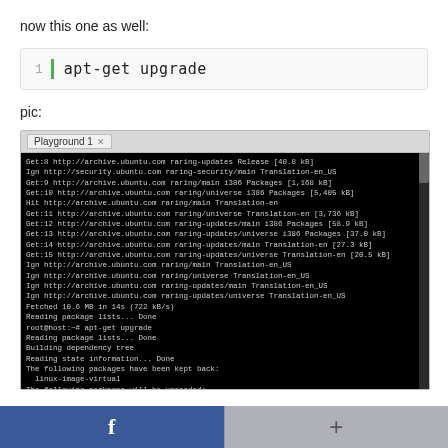now this one as well:
[Figure (screenshot): Code block showing line 1 with green bar and command: apt-get upgrade]
pic:
[Figure (screenshot): Terminal window (Playground 1 tab) showing apt-get upgrade output on Ubuntu, including package downloads, dependency resolution, and upgrade summary. Commands and output in white/grey on black background.]